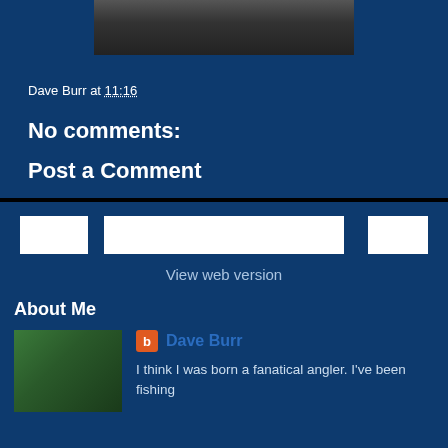[Figure (photo): Partial photo of a person, cropped at top, dark background]
Dave Burr at 11:16
No comments:
Post a Comment
[Figure (screenshot): Navigation bar with three white button placeholders and 'View web version' link]
View web version
About Me
[Figure (photo): Profile photo of Dave Burr outdoors, appears to be fishing-related]
Dave Burr
I think I was born a fanatical angler. I've been fishing